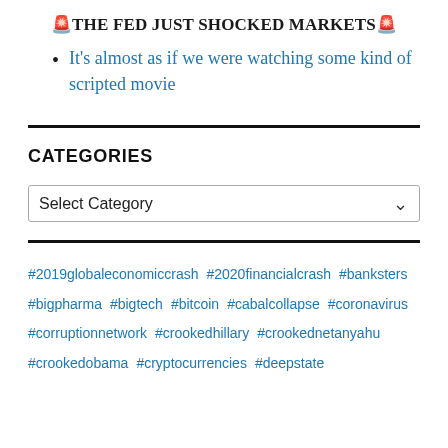🚨THE FED JUST SHOCKED MARKETS🚨
It's almost as if we were watching some kind of scripted movie
CATEGORIES
Select Category
#2019globaleconomiccrash #2020financialcrash #banksters #bigpharma #bigtech #bitcoin #cabalcollapse #coronavirus #corruptionnetwork #crookedhillary #crookednetanyahu #crookedobama #cryptocurrencies #deepstate